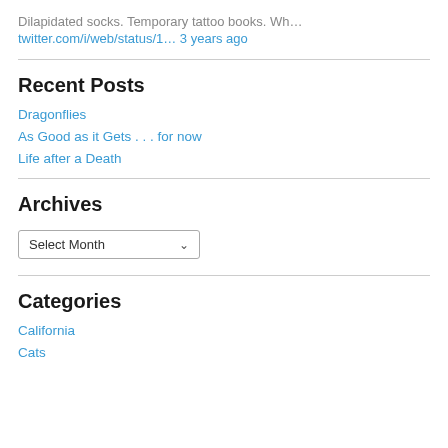Dilapidated socks. Temporary tattoo books. Wh…
twitter.com/i/web/status/1… 3 years ago
Recent Posts
Dragonflies
As Good as it Gets . . . for now
Life after a Death
Archives
Select Month
Categories
California
Cats